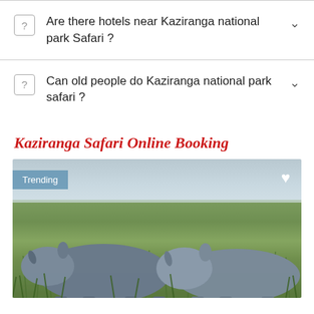Are there hotels near Kaziranga national park Safari ?
Can old people do Kaziranga national park safari ?
Kaziranga Safari Online Booking
[Figure (photo): Two rhinoceroses in a grassy field with misty background, with a 'Trending' badge and heart icon overlay]